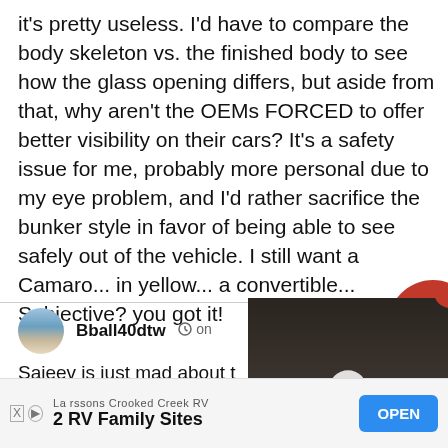it's pretty useless. I'd have to compare the body skeleton vs. the finished body to see how the glass opening differs, but aside from that, why aren't the OEMs FORCED to offer better visibility on their cars? It's a safety issue for me, probably more personal due to my eye problem, and I'd rather sacrifice the bunker style in favor of being able to see safely out of the vehicle. I still want a Camaro... in yellow... a convertible... Subjective? you got it!
Bball40dtw  on
Sajeev is just mad about t... hate flow, son.
[Figure (screenshot): Video thumbnail showing a person in dark clothing, with a play button overlay and caption text about Kia Niro hybrid.]
Larssons Crooked Creek RV  2 RV Family Sites  OPEN